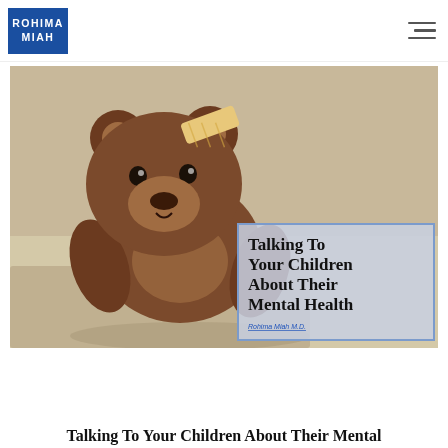ROHIMA MIAH
[Figure (photo): A brown teddy bear with a bandage on its head resting on a bed, with an overlay card reading 'Talking To Your Children About Their Mental Health' by Rohima Miah M.D.]
Talking To Your Children About Their Mental Health